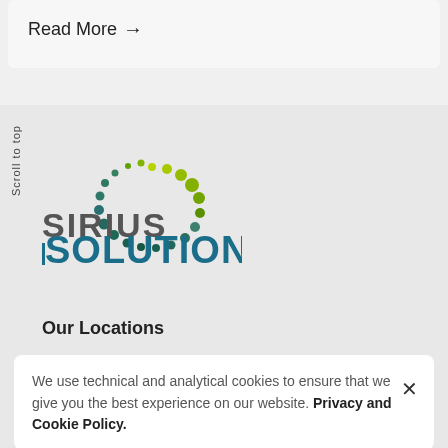Read More →
[Figure (logo): Sirius Solutions logo with circular dot pattern in yellow-green and teal, company name SIRIUS in gray and SOLUTIONS in teal bold]
Scroll to top
Our Locations
We use technical and analytical cookies to ensure that we give you the best experience on our website. Privacy and Cookie Policy.